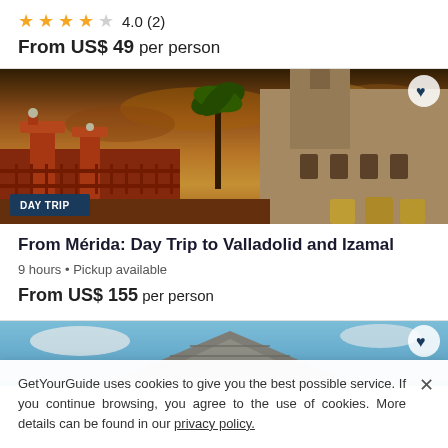4.0 (2) From US$ 49 per person
[Figure (photo): Sunset photo of Mérida colonial architecture with palm trees and warm orange sky, labeled DAY TRIP]
From Mérida: Day Trip to Valladolid and Izamal
9 hours • Pickup available
From US$ 155 per person
[Figure (photo): Partial photo of stone pyramid or archaeological site against blue sky]
GetYourGuide uses cookies to give you the best possible service. If you continue browsing, you agree to the use of cookies. More details can be found in our privacy policy.